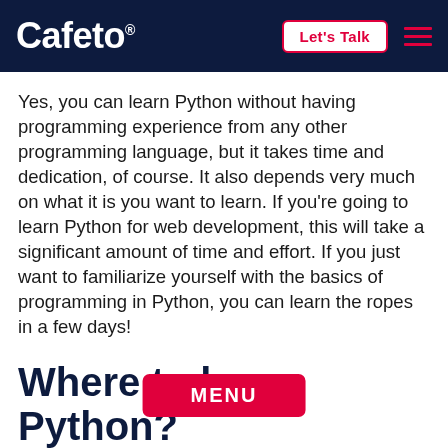Cafeto® | Let's Talk
Yes, you can learn Python without having programming experience from any other programming language, but it takes time and dedication, of course. It also depends very much on what it is you want to learn. If you're going to learn Python for web development, this will take a significant amount of time and effort. If you just want to familiarize yourself with the basics of programming in Python, you can learn the ropes in a few days!
Python is very easy to learn due to the English language syntax, which emphasizes readability. It has fewer complexities compared to other programming languages.
Where to learn Python?